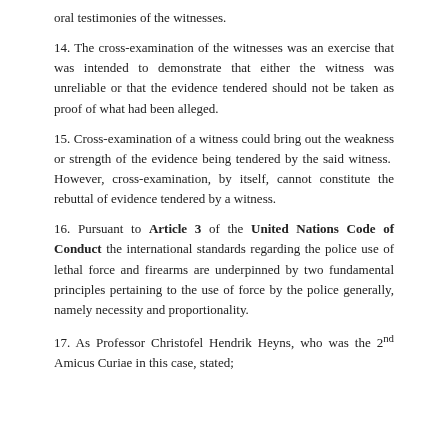oral testimonies of the witnesses.
14. The cross-examination of the witnesses was an exercise that was intended to demonstrate that either the witness was unreliable or that the evidence tendered should not be taken as proof of what had been alleged.
15. Cross-examination of a witness could bring out the weakness or strength of the evidence being tendered by the said witness. However, cross-examination, by itself, cannot constitute the rebuttal of evidence tendered by a witness.
16. Pursuant to Article 3 of the United Nations Code of Conduct the international standards regarding the police use of lethal force and firearms are underpinned by two fundamental principles pertaining to the use of force by the police generally, namely necessity and proportionality.
17. As Professor Christofel Hendrik Heyns, who was the 2nd Amicus Curiae in this case, stated;